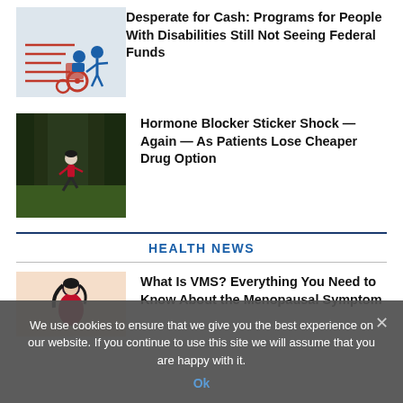[Figure (illustration): Illustration of a person in blue pushing someone in a wheelchair with red frame, on light gray background]
Desperate for Cash: Programs for People With Disabilities Still Not Seeing Federal Funds
[Figure (photo): Photo of a person running in a grassy outdoor area with trees in background]
Hormone Blocker Sticker Shock — Again — As Patients Lose Cheaper Drug Option
HEALTH NEWS
[Figure (illustration): Illustration of a woman in a red outfit on a peach/salmon background]
What Is VMS? Everything You Need to Know About the Menopausal Symptom
We use cookies to ensure that we give you the best experience on our website. If you continue to use this site we will assume that you are happy with it.
Ok